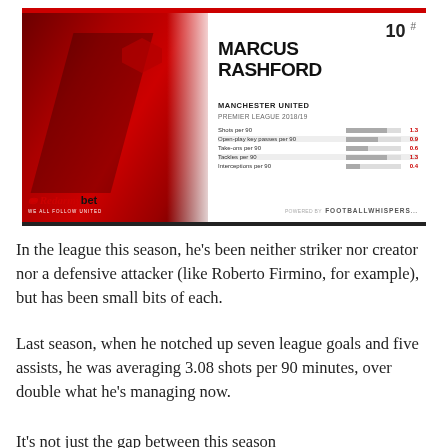[Figure (infographic): Marcus Rashford player statistics card showing: jersey number 10, player name MARCUS RASHFORD, club MANCHESTER UNITED, competition PREMIER LEAGUE 2018/19, with stats bars: Shots per 90 (1.3), Open-play key passes per 90 (0.9), Take-ons per 90 (0.6), Tackles per 90 (1.3), Interceptions per 90 (0.4). Red background photo on left with devil logo 'RedarmyBet WE ALL FOLLOW UNITED'. Powered by FOOTBALLWHISPERS.]
In the league this season, he's been neither striker nor creator nor a defensive attacker (like Roberto Firmino, for example), but has been small bits of each.
Last season, when he notched up seven league goals and five assists, he was averaging 3.08 shots per 90 minutes, over double what he's managing now.
It's not just the gap between this season